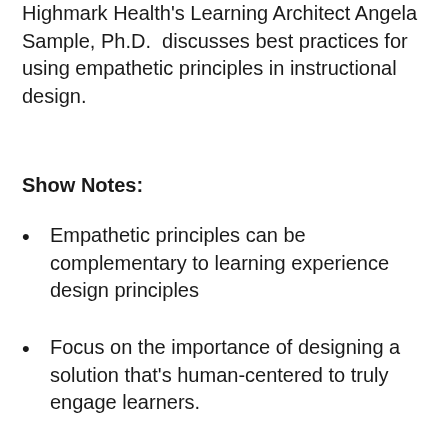Highmark Health's Learning Architect Angela Sample, Ph.D.  discusses best practices for using empathetic principles in instructional design.
Show Notes:
Empathetic principles can be complementary to learning experience design principles
Focus on the importance of designing a solution that's human-centered to truly engage learners.
Create learner profiles that consider the learner's feelings. Then, be willing to pivot your training approach to align with their cognitive and emotional